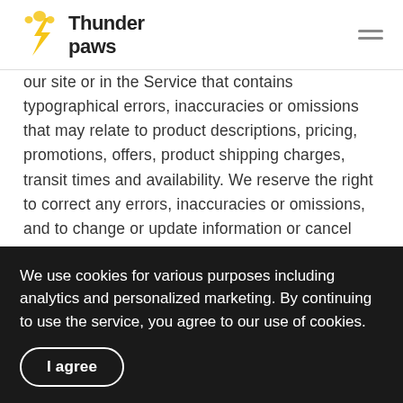Thunder Paws
our site or in the Service that contains typographical errors, inaccuracies or omissions that may relate to product descriptions, pricing, promotions, offers, product shipping charges, transit times and availability. We reserve the right to correct any errors, inaccuracies or omissions, and to change or update information or cancel orders if any information in the Service or on any related website is inaccurate at any time without
We use cookies for various purposes including analytics and personalized marketing. By continuing to use the service, you agree to our use of cookies.